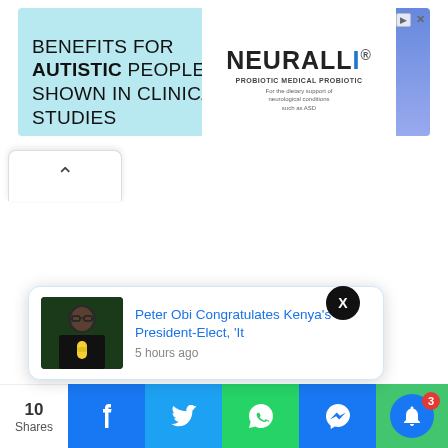[Figure (screenshot): Advertisement banner for NEURALLI medical probiotic with text 'BENEFITS FOR AUTISTIC PEOPLE SHOWN IN CLINICAL STUDIES' on teal/cyan background, NEURALLI logo on white panel with blue stripe on right]
[Figure (screenshot): Browser tab with up-arrow (caret) chevron icon]
[Figure (screenshot): Notification popup card with photo of Peter Obi (man in black holding microphone) and text 'Peter Obi Congratulates Kenya's President-Elect, 'It' with timestamp '5 hours ago']
[Figure (screenshot): Black circle close button with white X]
[Figure (screenshot): Bottom social sharing bar with share count '10 Shares', Facebook, Twitter, WhatsApp, Messenger buttons and green notification bell with badge count 3]